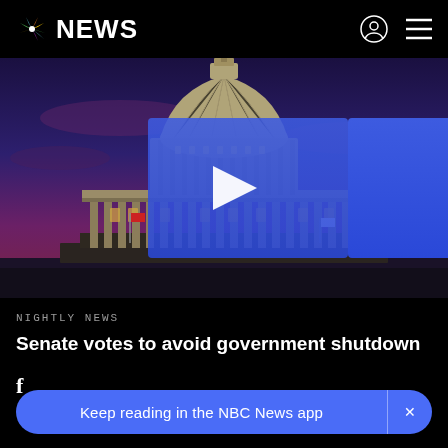NBC NEWS
[Figure (screenshot): NBC News website screenshot showing the US Capitol building at night with a dramatic purple-red sky, a blue video play button overlay in the center of the dome area]
NIGHTLY NEWS
Senate votes to avoid government shutdown
Keep reading in the NBC News app  ×